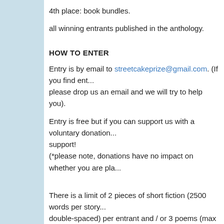4th place: book bundles.
all winning entrants published in the anthology.
HOW TO ENTER
Entry is by email to streetcakeprize@gmail.com. (If you find ent... please drop us an email and we will try to help you).
Entry is free but if you can support us with a voluntary donation... support! (*please note, donations have no impact on whether you are pla...
There is a limit of 2 pieces of short fiction (2500 words per story... double-spaced) per entrant and / or 3 poems (max 2 sides of A4...
In the subject line, please state your age and write either "poetr... you are submitting (this will allow us to enter you into the correc...